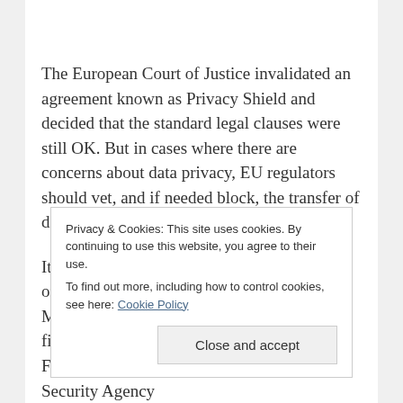The European Court of Justice invalidated an agreement known as Privacy Shield and decided that the standard legal clauses were still OK. But in cases where there are concerns about data privacy, EU regulators should vet, and if needed block, the transfer of data.
It’s the latest development in a case that originated more than seven years ago, when Max Schrems, an Austrian privacy activist, filed a complaint about the handling of his Facebook data after former U.S. National Security Agency
Privacy & Cookies: This site uses cookies. By continuing to use this website, you agree to their use.
To find out more, including how to control cookies, see here: Cookie Policy
Close and accept